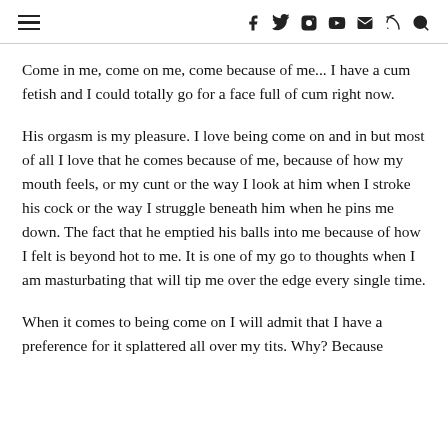navigation header with hamburger menu and social icons
Come in me, come on me, come because of me... I have a cum fetish and I could totally go for a face full of cum right now.
His orgasm is my pleasure. I love being come on and in but most of all I love that he comes because of me, because of how my mouth feels, or my cunt or the way I look at him when I stroke his cock or the way I struggle beneath him when he pins me down. The fact that he emptied his balls into me because of how I felt is beyond hot to me. It is one of my go to thoughts when I am masturbating that will tip me over the edge every single time.
When it comes to being come on I will admit that I have a preference for it splattered all over my tits. Why? Because